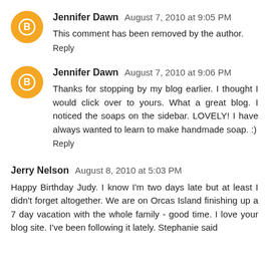Jennifer Dawn  August 7, 2010 at 9:05 PM
This comment has been removed by the author.
Reply
Jennifer Dawn  August 7, 2010 at 9:06 PM
Thanks for stopping by my blog earlier. I thought I would click over to yours. What a great blog. I noticed the soaps on the sidebar. LOVELY! I have always wanted to learn to make handmade soap. :)
Reply
Jerry Nelson  August 8, 2010 at 5:03 PM
Happy Birthday Judy. I know I'm two days late but at least I didn't forget altogether. We are on Orcas Island finishing up a 7 day vacation with the whole family - good time. I love your blog site. I've been following it lately. Stephanie said